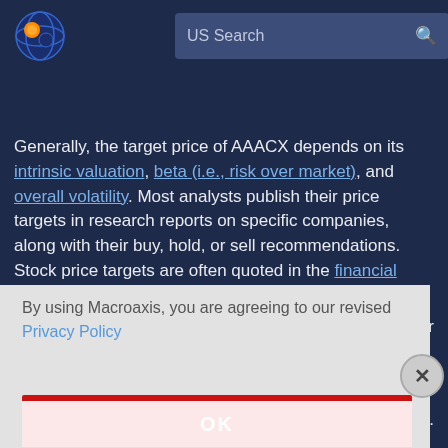[Figure (logo): Macroaxis globe logo with orange and blue colors]
US Search
Generally, the target price of AAACX depends on its intrinsic valuation, beta (i.e., risk over market), and overall volatility. Most analysts publish their price targets in research reports on specific companies, along with their buy, hold, or sell recommendations. Stock price targets are often quoted in the financial news media. Macroaxis uses [partially obscured] on for [partially obscured].
By using Macroaxis, you are agreeing to our revised Privacy Policy
OK
dules.
n and
development of our algorithms and tools, helped and